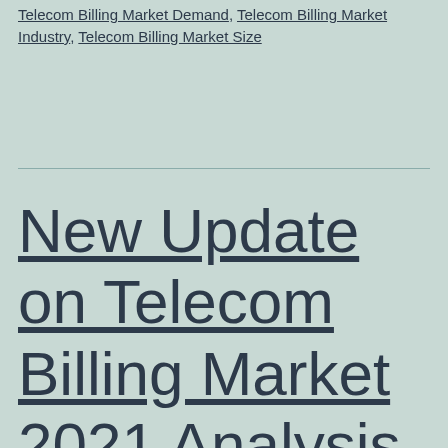Telecom Billing Market Demand, Telecom Billing Market Industry, Telecom Billing Market Size
New Update on Telecom Billing Market 2021 Analysis by Competitive landscape, Industry Insights and Forecast to